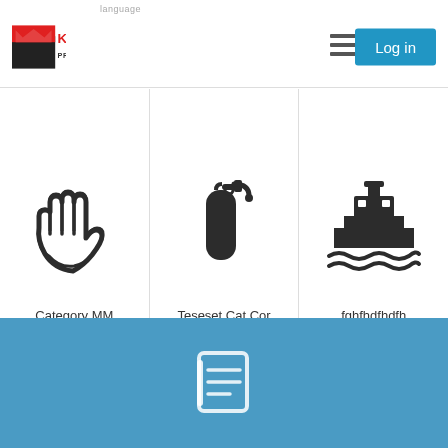language
[Figure (logo): King Products logo with crown icon and red/black text]
[Figure (infographic): Hamburger menu icon (three horizontal lines)]
Log in
[Figure (illustration): Hand/glove icon for Category MM]
Category MM
[Figure (illustration): Fire extinguisher icon for Teseset Cat Cor]
Teseset Cat Cor
[Figure (illustration): Ship/cargo vessel icon for fghfhdfhdfh]
fghfhdfhdfh
[Figure (illustration): White notebook/document icon on blue background in footer]